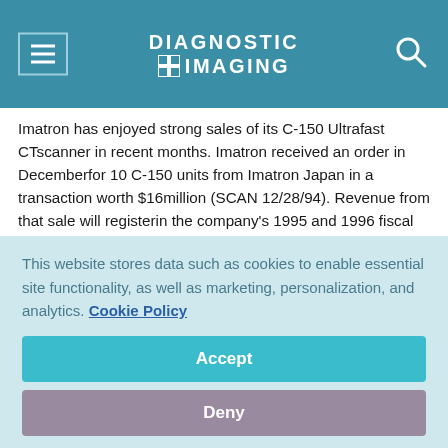DIAGNOSTIC IMAGING
Imatron has enjoyed strong sales of its C-150 Ultrafast CTscanner in recent months. Imatron received an order in Decemberfor 10 C-150 units from Imatron Japan in a transaction worth $16million (SCAN 12/28/94). Revenue from that sale will registerin the company's 1995 and 1996 fiscal years.

Imatron's backlog is at its highest level since the companywas formed in 1983, president and CEO Lewis Meyer said. The
This website stores data such as cookies to enable essential site functionality, as well as marketing, personalization, and analytics. Cookie Policy
Accept
Deny